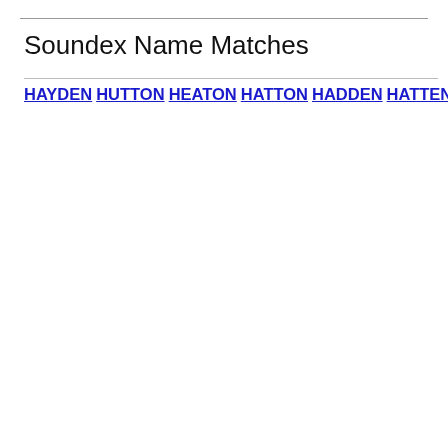Soundex Name Matches
HAYDEN HUTTON HEATON HATTON HADDEN HATTEN HOOTEN HEDDEN HEITMAN HADEN HYDEN HEIDEN HEITMANN HEIDEMAN HAYDON HEDMAN HEADEN HADDON HEDIN HOWTON HOOTON HAYTON HEATHMAN HATEM HOWDEN HUDON HUDMAN HEIDEMANN HOOTMAN HEYDEN HATTAN HEDEEN HOUTMAN HADWIN HETMAN HOTTMAN HOTHAM HEYDON HADDADIN HEADDEN HEADMAN HATAMI HUTMAN HODUM HTUN HADDAN HEUTON HEIDTMAN HYTEN HAWATMEH HIDDEN HATOUM HODEN HEDEMAN HATMAN HUTTEN HODNE HOTTON HOTHAN HEDEN HEIDMANN HATIN HUDYMA HUDMON HOTHEM HATON HADDENHAM HADAM HYTINEN HOTTMANN HODAN HITTMAN HIEDEMAN HUTTUNEN HEIDMAN HATANO HATTEM HEIDEMA HUETTEMAN